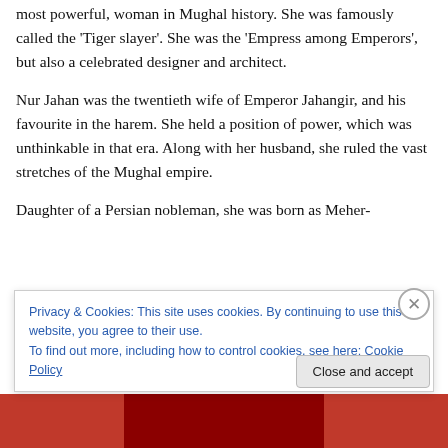most powerful, woman in Mughal history. She was famously called the 'Tiger slayer'. She was the 'Empress among Emperors', but also a celebrated designer and architect.
Nur Jahan was the twentieth wife of Emperor Jahangir, and his favourite in the harem. She held a position of power, which was unthinkable in that era. Along with her husband, she ruled the vast stretches of the Mughal empire.
Daughter of a Persian nobleman, she was born as Meher-
Privacy & Cookies: This site uses cookies. By continuing to use this website, you agree to their use.
To find out more, including how to control cookies, see here: Cookie Policy
[Figure (photo): Red background image at bottom of page, partially visible]